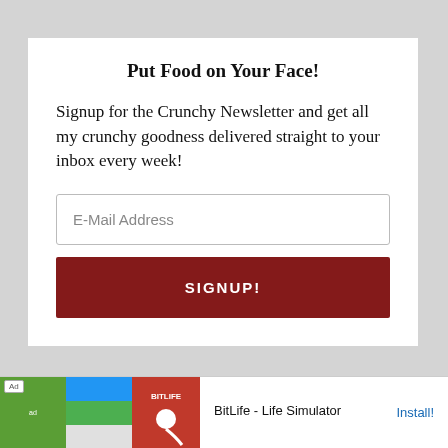Put Food on Your Face!
Signup for the Crunchy Newsletter and get all my crunchy goodness delivered straight to your inbox every week!
E-Mail Address
SIGNUP!
[Figure (screenshot): Ad banner for BitLife - Life Simulator app with colorful imagery and an Install! link]